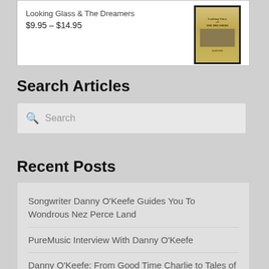Looking Glass & The Dreamers
$9.95 – $14.95
Search Articles
Search
Recent Posts
Songwriter Danny O'Keefe Guides You To Wondrous Nez Perce Land
PureMusic Interview With Danny O'Keefe
Danny O'Keefe: From Good Time Charlie to Tales of the Nez Perce, He Furthers His Musical Mission